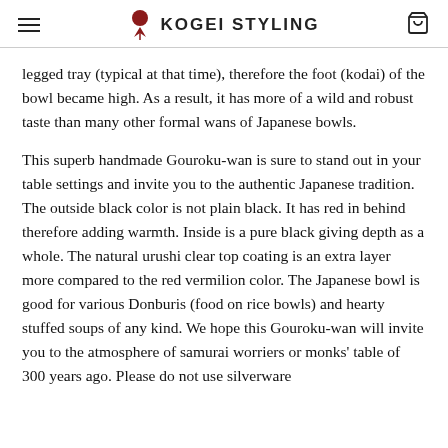KOGEI STYLING
legged tray (typical at that time), therefore the foot (kodai) of the bowl became high. As a result, it has more of a wild and robust taste than many other formal wans of Japanese bowls.
This superb handmade Gouroku-wan is sure to stand out in your table settings and invite you to the authentic Japanese tradition. The outside black color is not plain black. It has red in behind therefore adding warmth. Inside is a pure black giving depth as a whole. The natural urushi clear top coating is an extra layer more compared to the red vermilion color. The Japanese bowl is good for various Donburis (food on rice bowls) and hearty stuffed soups of any kind. We hope this Gouroku-wan will invite you to the atmosphere of samurai worriers or monks' table of 300 years ago. Please do not use silverware